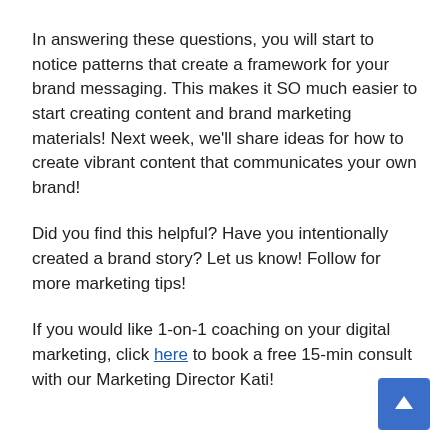In answering these questions, you will start to notice patterns that create a framework for your brand messaging. This makes it SO much easier to start creating content and brand marketing materials! Next week, we'll share ideas for how to create vibrant content that communicates your own brand!
Did you find this helpful? Have you intentionally created a brand story? Let us know! Follow for more marketing tips!
If you would like 1-on-1 coaching on your digital marketing, click here to book a free 15-min consult with our Marketing Director Kati!